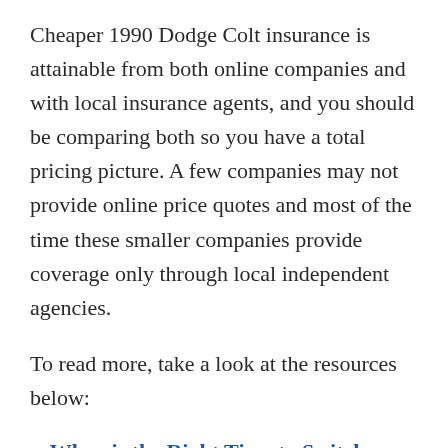Cheaper 1990 Dodge Colt insurance is attainable from both online companies and with local insurance agents, and you should be comparing both so you have a total pricing picture. A few companies may not provide online price quotes and most of the time these smaller companies provide coverage only through local independent agencies.
To read more, take a look at the resources below:
When is the Right Time to Switch